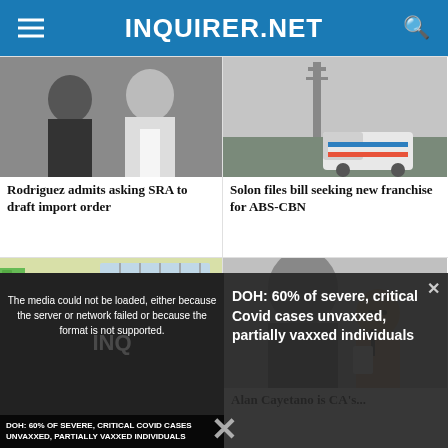INQUIRER.NET
[Figure (photo): Two men in suits, news article photo for Rodriguez story]
Rodriguez admits asking SRA to draft import order
[Figure (photo): White pickup truck near a tower, ABS-CBN story photo]
Solon files bill seeking new franchise for ABS-CBN
[Figure (photo): Classroom with students seated at desks, Inquirer Manila story]
Inquirer stands by Manila...
[Figure (photo): Man speaking at a podium with microphone, Alan Cayetano story]
Alan Cayetano is CA's...
[Figure (screenshot): Video player showing media error overlay and DOH Covid news thumbnail]
The media could not be loaded, either because the server or network failed or because the format is not supported.
DOH: 60% of severe, critical Covid cases unvaxxed, partially vaxxed individuals